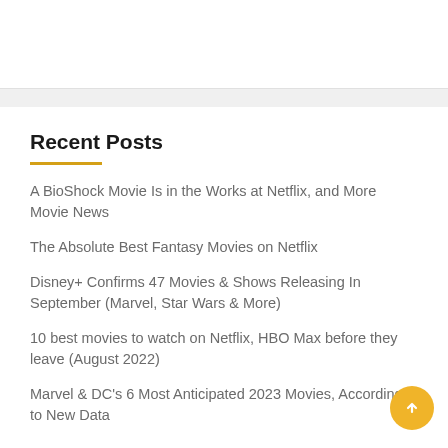Recent Posts
A BioShock Movie Is in the Works at Netflix, and More Movie News
The Absolute Best Fantasy Movies on Netflix
Disney+ Confirms 47 Movies & Shows Releasing In September (Marvel, Star Wars & More)
10 best movies to watch on Netflix, HBO Max before they leave (August 2022)
Marvel & DC's 6 Most Anticipated 2023 Movies, According to New Data